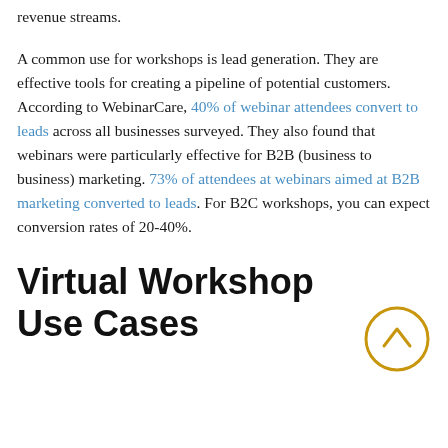revenue streams.
A common use for workshops is lead generation. They are effective tools for creating a pipeline of potential customers. According to WebinarCare, 40% of webinar attendees convert to leads across all businesses surveyed. They also found that webinars were particularly effective for B2B (business to business) marketing. 73% of attendees at webinars aimed at B2B marketing converted to leads. For B2C workshops, you can expect conversion rates of 20-40%.
Virtual Workshop Use Cases